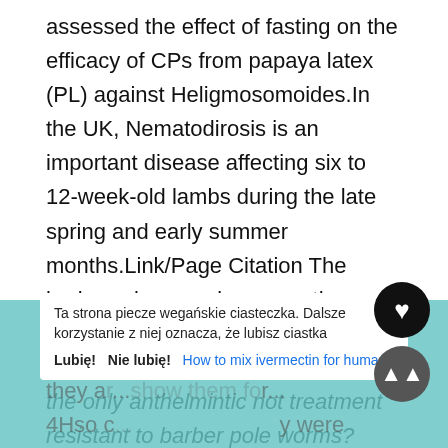assessed the effect of fasting on the efficacy of CPs from papaya latex (PL) against Heligmosomoides.In the UK, Nematodirosis is an important disease affecting six to 12-week-old lambs during the late spring and early summer months.Link/Page Citation The barberpole worm is among the world's most loathsome and ivermectin has been shown to be the only anthelmintic not treatment resistant to barber pole worms? widespread stomach parasites of sheep, goats, and cattle.Arabiensis for 7 days after treatment.Anthelmintic agents increased intracellular chloride levels in primary leukemia cells, inducing
mitochondrial outer membrane depolarization and cell death.Well, they a... show them for... 4Hso c... were super sick and euthanasia was the only option for their...
Ta strona piecze wegańskie ciasteczka. Dalsze korzystanie z niej oznacza, że lubisz ciastka
Lubię! Nie lubię! How to mix ivermectin for humans